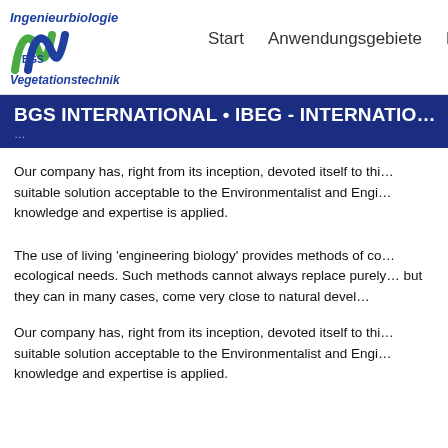[Figure (logo): BGS Ingenieurbiologie Vegetationstechnik logo with green and blue wave graphic]
Start    Anwendungsgebiete    P…
BGS INTERNATIONAL • IBEG - INTERNATIO…
Our company has, right from its inception, devoted itself to this suitable solution acceptable to the Environmentalist and Engin… knowledge and expertise is applied.
The use of living 'engineering biology' provides methods of co… ecological needs. Such methods cannot always replace purely… but they can in many cases, come very close to natural devel…
Our company has, right from its inception, devoted itself to this suitable solution acceptable to the Environmentalist and Engin… knowledge and expertise is applied.